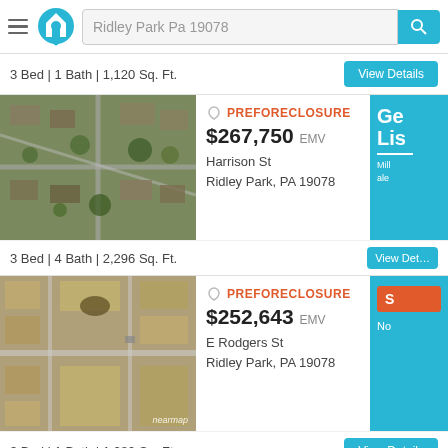[Figure (screenshot): Mobile app header with hamburger menu, home logo, search field showing 'Ridley Park Pa 19078', and blue search button]
3 Bed | 1 Bath | 1,120 Sq. Ft.
[Figure (photo): Aerial satellite view of residential neighborhood, listing tagged PREFORECLOSURE, $267,750 EMV, Harrison St, Ridley Park, PA 19078]
PREFORECLOSURE
$267,750 EMV
Harrison St
Ridley Park, PA 19078
3 Bed | 4 Bath | 2,296 Sq. Ft.
[Figure (photo): Aerial satellite view of residential neighborhood, listing tagged PREFORECLOSURE, $252,643 EMV, E Rodgers St, Ridley Park, PA 19078. Nearmap watermark visible.]
PREFORECLOSURE
$252,643 EMV
E Rodgers St
Ridley Park, PA 19078
3 Bed | 1 Bath | 1,289 Sq. Ft.